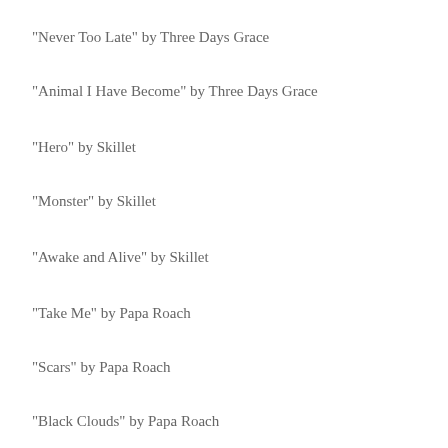“Never Too Late” by Three Days Grace
“Animal I Have Become” by Three Days Grace
“Hero” by Skillet
“Monster” by Skillet
“Awake and Alive” by Skillet
“Take Me” by Papa Roach
“Scars” by Papa Roach
“Black Clouds” by Papa Roach